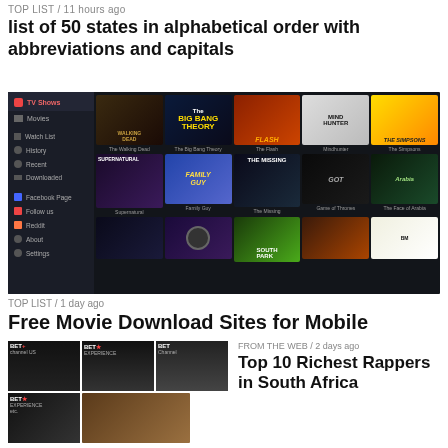TOP LIST / 11 hours ago
list of 50 states in alphabetical order with abbreviations and capitals
[Figure (screenshot): Screenshot of a TV streaming website showing a dark-themed UI with a sidebar navigation (TV Shows, Movies, Watch List, History, Recent, Downloaded, Facebook Page, Follow us, Reddit, About, Settings) and a grid of TV show poster thumbnails including The Walking Dead, The Big Bang Theory, The Flash, Mindhunter, The Simpsons, Supernatural, Family Guy, The Missing, Game of Thrones, The Face of Arabia, and partially visible third row.]
TOP LIST / 1 day ago
Free Movie Download Sites for Mobile
FROM THE WEB / 2 days ago
Top 10 Richest Rappers in South Africa
[Figure (photo): Collage of photos related to richest rappers in South Africa, showing BET+ channel logos and people including a smiling man and others in formal settings.]